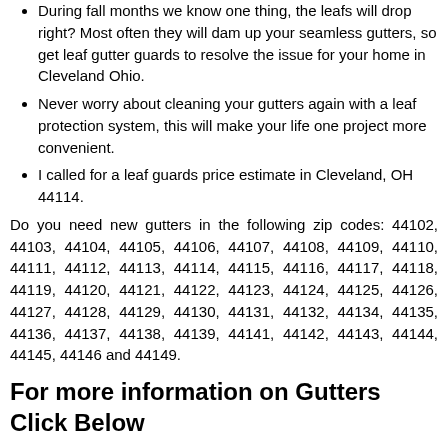During fall months we know one thing, the leafs will drop right? Most often they will dam up your seamless gutters, so get leaf gutter guards to resolve the issue for your home in Cleveland Ohio.
Never worry about cleaning your gutters again with a leaf protection system, this will make your life one project more convenient.
I called for a leaf guards price estimate in Cleveland, OH 44114.
Do you need new gutters in the following zip codes: 44102, 44103, 44104, 44105, 44106, 44107, 44108, 44109, 44110, 44111, 44112, 44113, 44114, 44115, 44116, 44117, 44118, 44119, 44120, 44121, 44122, 44123, 44124, 44125, 44126, 44127, 44128, 44129, 44130, 44131, 44132, 44134, 44135, 44136, 44137, 44138, 44139, 44141, 44142, 44143, 44144, 44145, 44146 and 44149.
For more information on Gutters Click Below
Cleveland Rain Gutters
Gutter Contractor for Cleveland Ohio